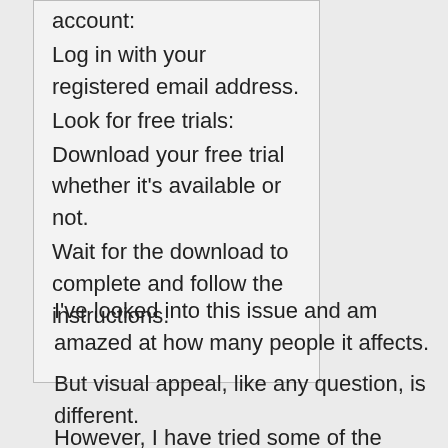account:
Log in with your registered email address.
Look for free trials:
Download your free trial whether it's available or not.
Wait for the download to complete and follow the instructions.
I've looked into this issue and am amazed at how many people it affects.
But visual appeal, like any question, is different.
However, I have tried some of the solutions suggested by interested parties.
* Disable Microsoft Auto Posts,
* Use “FirewallLeakTester” to permanently